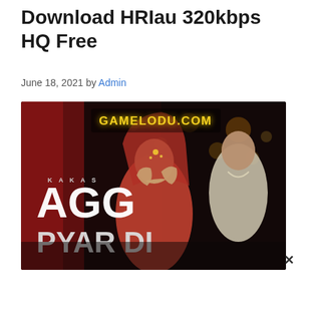Download HRIau 320kbps HQ Free
June 18, 2021 by Admin
[Figure (photo): Album art / music thumbnail for 'Agg Pyar Di' by Kaka. Shows a bride in red wedding attire with hands raised to her face and a groom behind her. Text on image reads 'GAMELODU.COM' at the top in yellow neon lettering, and 'KAKA S AGG PYAR DI' in large white text on the left side. Dark dramatic background.]